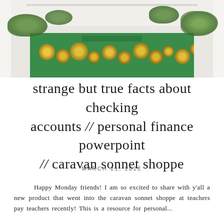[Figure (photo): A decorative fireplace mantel with green moss/foliage decoration, wood log slices on a green background, and plants/greenery on top of the white mantel shelf.]
strange but true facts about checking accounts // personal finance powerpoint // caravan sonnet shoppe
MARCH 21, 2022
Happy Monday friends! I am so excited to share with y'all a new product that went into the caravan sonnet shoppe at teachers pay teachers recently! This is a resource for personal...